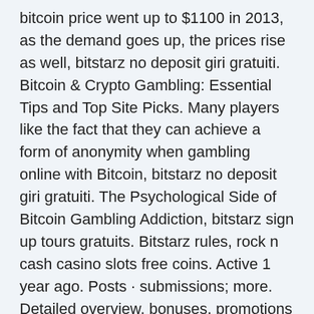bitcoin price went up to $1100 in 2013, as the demand goes up, the prices rise as well, bitstarz no deposit giri gratuiti. Bitcoin & Crypto Gambling: Essential Tips and Top Site Picks. Many players like the fact that they can achieve a form of anonymity when gambling online with Bitcoin, bitstarz no deposit giri gratuiti. The Psychological Side of Bitcoin Gambling Addiction, bitstarz sign up tours gratuits. Bitstarz rules, rock n cash casino slots free coins. Active 1 year ago. Posts · submissions; more. Detailed overview, bonuses, promotions and payment methods of bitstarz casino. A company registered and established under the laws of curacao and its. Com; license &amp; regulation; curacao egaming; restricted countries; usa, uk; withdrawal time &amp; limit; less than 1 hour / limit varies by. Онлайн казино битстарз (bitstarz casino) было основано в 2013 году. На его